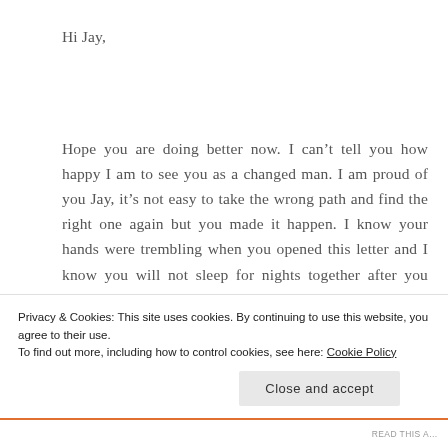Hi Jay,
Hope you are doing better now. I can’t tell you how happy I am to see you as a changed man. I am proud of you Jay, it’s not easy to take the wrong path and find the right one again but you made it happen. I know your hands were trembling when you opened this letter and I know you will not sleep for nights together after you read
Privacy & Cookies: This site uses cookies. By continuing to use this website, you agree to their use.
To find out more, including how to control cookies, see here: Cookie Policy
Close and accept